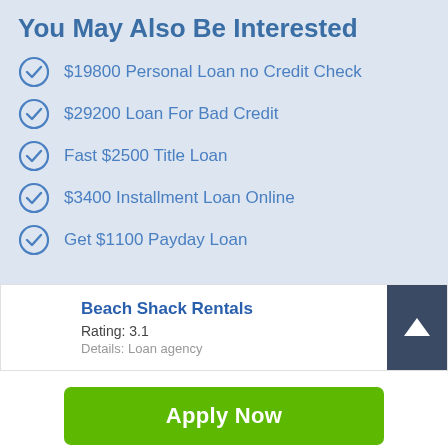You May Also Be Interested
$19800 Personal Loan no Credit Check
$29200 Loan For Bad Credit
Fast $2500 Title Loan
$3400 Installment Loan Online
Get $1100 Payday Loan
Beach Shack Rentals
Rating: 3.1
Details: Loan agency
Apply Now
Applying does NOT affect your credit score! No credit check to apply.